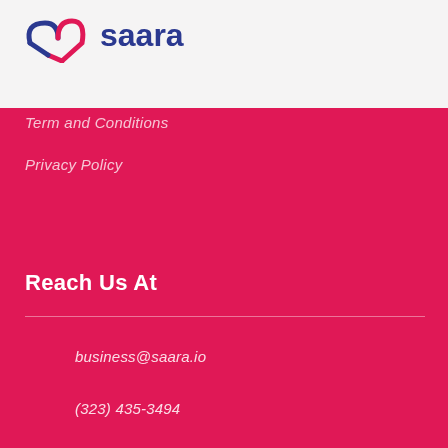[Figure (logo): Saara company logo - partial view showing a stylized heart/arrow icon in blue and red with the word 'Saara' in blue text]
Term and Conditions
Privacy Policy
Reach Us At
business@saara.io
(323) 435-3494